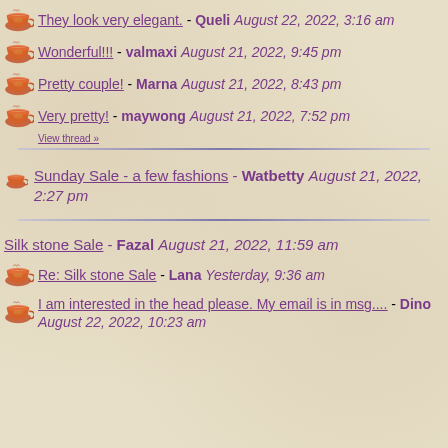They look very elegant. - Queli August 22, 2022, 3:16 am
Wonderful!!! - valmaxi August 21, 2022, 9:45 pm
Pretty couple! - Marna August 21, 2022, 8:43 pm
Very pretty! - maywong August 21, 2022, 7:52 pm
View thread »
Sunday Sale - a few fashions - Watbetty August 21, 2022, 2:27 pm
Silk stone Sale - Fazal August 21, 2022, 11:59 am
Re: Silk stone Sale - Lana Yesterday, 9:36 am
I am interested in the head please. My email is in msg.... - Dino August 22, 2022, 10:23 am